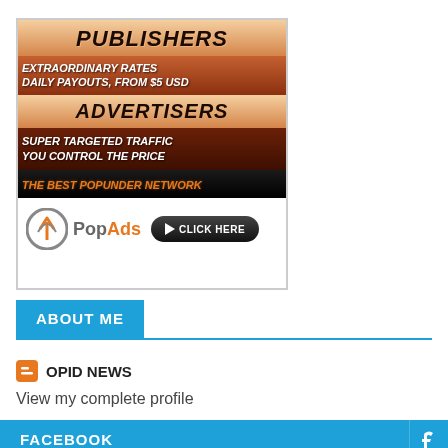[Figure (infographic): PopAds advertising banner promoting publisher and advertiser services. Shows: PUBLISHERS, EXTRAORDINARY RATES DAILY PAYOUTS, FROM $5 USD, ADVERTISERS, SUPER TARGETED TRAFFIC YOU CONTROL THE PRICE, THE BEST POPUNDER NETWORK, PopAds logo with CLICK HERE button]
ABOUT ME
OPID NEWS
View my complete profile
FACEBOOK